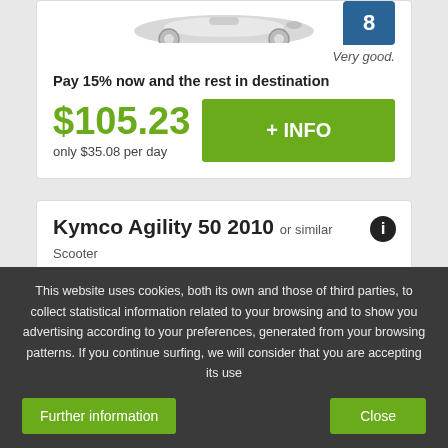[Figure (photo): Partial view of a scooter from above]
8
Very good.
Pay 15% now and the rest in destination
$105.23
only $35.08 per day
+ INFO
Kymco Agility 50 2010 or similar Scooter
50 c.c.
Santa Maria Maggiore - Termini Station
Unlimited mileage
This website uses cookies, both its own and those of third parties, to collect statistical information related to your browsing and to show you advertising according to your preferences, generated from your browsing patterns. If you continue surfing, we will consider that you are accepting its use
Further information
Close